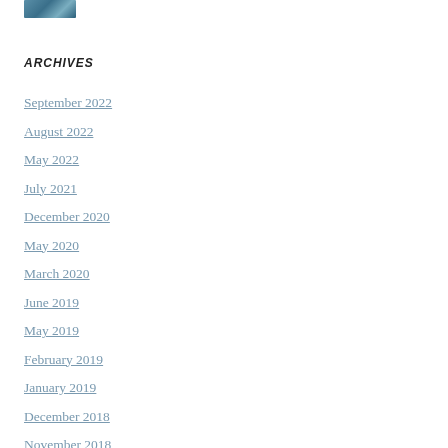[Figure (photo): Small partial photo strip at top left corner showing a blue/teal colored image]
ARCHIVES
September 2022
August 2022
May 2022
July 2021
December 2020
May 2020
March 2020
June 2019
May 2019
February 2019
January 2019
December 2018
November 2018
September 2018
August 2018